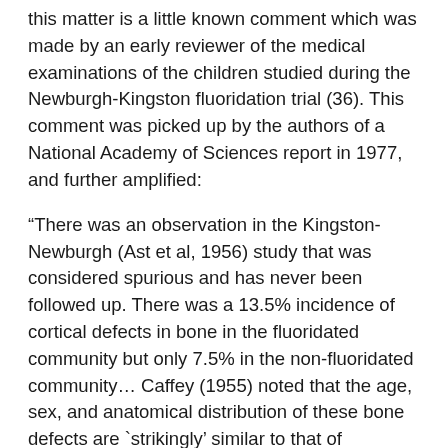this matter is a little known comment which was made by an early reviewer of the medical examinations of the children studied during the Newburgh-Kingston fluoridation trial (36). This comment was picked up by the authors of a National Academy of Sciences report in 1977, and further amplified:
“There was an observation in the Kingston-Newburgh (Ast et al, 1956) study that was considered spurious and has never been followed up. There was a 13.5% incidence of cortical defects in bone in the fluoridated community but only 7.5% in the non-fluoridated community… Caffey (1955) noted that the age, sex, and anatomical distribution of these bone defects are `strikingly’ similar to that of osteogenic sarcoma. While progression of cortical defects to malignancies has not been observed clinically, it would